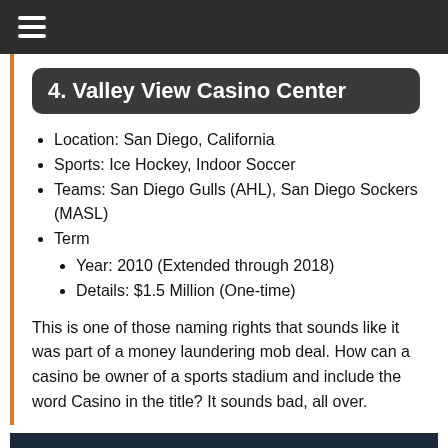≡
4. Valley View Casino Center
Location: San Diego, California
Sports: Ice Hockey, Indoor Soccer
Teams: San Diego Gulls (AHL), San Diego Sockers (MASL)
Term
Year: 2010 (Extended through 2018)
Details: $1.5 Million (One-time)
This is one of those naming rights that sounds like it was part of a money laundering mob deal. How can a casino be owner of a sports stadium and include the word Casino in the title? It sounds bad, all over.
[Figure (photo): Dark blue image strip at bottom of page]